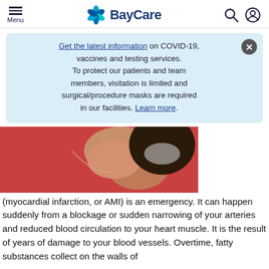Menu | BayCare
Get the latest information on COVID-19, vaccines and testing services. To protect our patients and team members, visitation is limited and surgical/procedure masks are required in our facilities. Learn more.
[Figure (photo): A woman in a red jacket holding her hand to her chest/neck area, appearing to be in discomfort.]
(myocardial infarction, or AMI) is an emergency. It can happen suddenly from a blockage or sudden narrowing of your arteries and reduced blood circulation to your heart muscle. It is the result of years of damage to your blood vessels. Overtime, fatty substances collect on the walls of